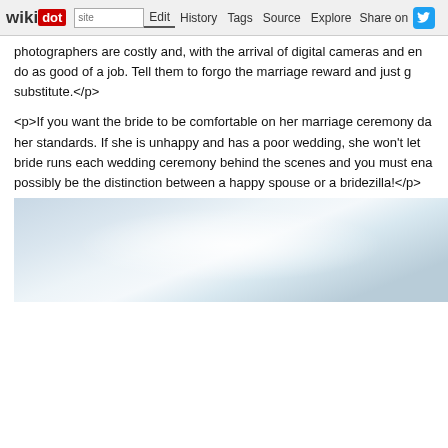wikidot | site | Edit | History | Tags | Source | Explore | Share on
photographers are costly and, with the arrival of digital cameras and en do as good of a job. Tell them to forgo the marriage reward and just g substitute.</p>
<p>If you want the bride to be comfortable on her marriage ceremony da her standards. If she is unhappy and has a poor wedding, she won't let bride runs each wedding ceremony behind the scenes and you must ena possibly be the distinction between a happy spouse or a bridezilla!</p>
[Figure (photo): Light blue and white gradient sky/background image]